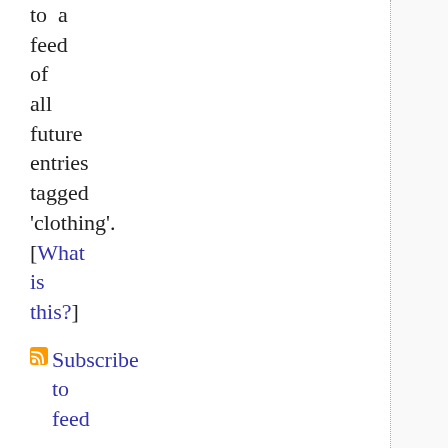to a feed of all future entries tagged 'clothing'. [What is this?]
Subscribe to feed
Other Tags
Other tags used on this blog: